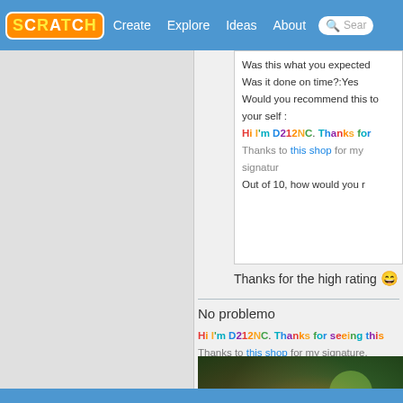SCRATCH | Create | Explore | Ideas | About | Search
Was this what you expected?
Was it done on time?:Yes
Would you recommend this to your self :
Hi I'm D212NC. Thanks for
Thanks to this shop for my signature.
Out of 10, how would you rate
Thanks for the high rating 😄
No problemo
Hi I'm D212NC. Thanks for seeing this
Thanks to this shop for my signature.
[Figure (photo): Colorful bokeh lights background in red, orange, green colors with large white text showing 'D2' with curly braces style]